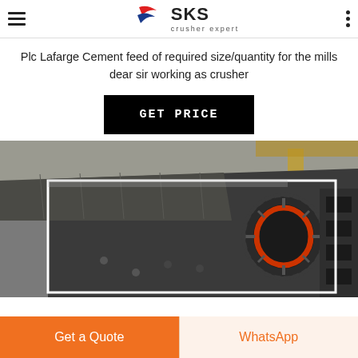SKS crusher expert
Plc Lafarge Cement feed of required size/quantity for the mills dear sir working as crusher
GET PRICE
[Figure (photo): Industrial crusher machine photographed inside a factory/warehouse, showing a large mechanical crusher with roller mechanism and orange-rimmed circular element, with white rectangular overlay border]
Get a Quote
WhatsApp